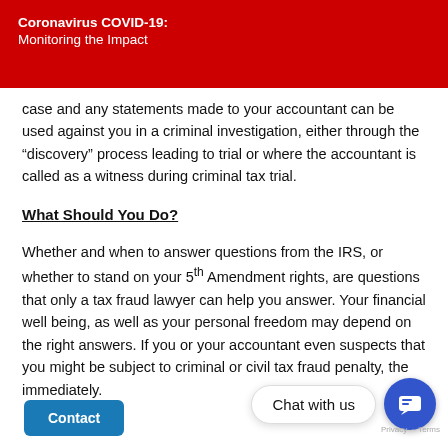Coronavirus COVID-19: Monitoring the Impact
case and any statements made to your accountant can be used against you in a criminal investigation, either through the “discovery” process leading to trial or where the accountant is called as a witness during criminal tax trial.
What Should You Do?
Whether and when to answer questions from the IRS, or whether to stand on your 5th Amendment rights, are questions that only a tax fraud lawyer can help you answer. Your financial well being, as well as your personal freedom may depend on the right answers. If you or your accountant even suspects that you might be subject to criminal or civil tax fraud penalty, the immediately.